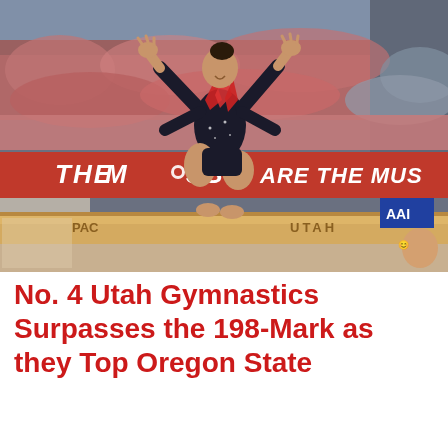[Figure (photo): A gymnast performing a balance beam routine at a University of Utah gymnastics meet. She is wearing a black and red sparkly leotard with a flame design, arms raised, crouching on the beam. A large crowd dressed in red fills the stands behind her. A red banner reading 'THE MUSS' and 'ARE THE MUSS' is visible in the background. The beam has 'UTAH' lettering on the side. An AAI logo and Under Armour branding are visible.]
No. 4 Utah Gymnastics Surpasses the 198-Mark as they Top Oregon State